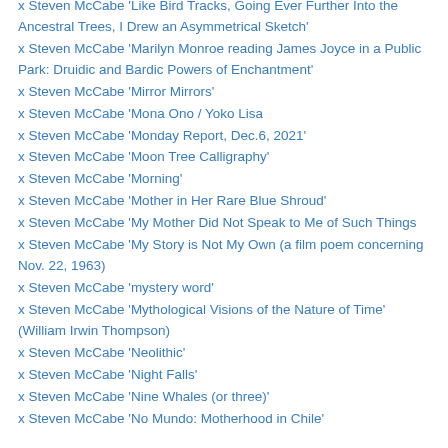x Steven McCabe 'Like Bird Tracks, Going Ever Further Into the Ancestral Trees, I Drew an Asymmetrical Sketch'
x Steven McCabe 'Marilyn Monroe reading James Joyce in a Public Park: Druidic and Bardic Powers of Enchantment'
x Steven McCabe 'Mirror Mirrors'
x Steven McCabe 'Mona Ono / Yoko Lisa
x Steven McCabe 'Monday Report, Dec.6, 2021'
x Steven McCabe 'Moon Tree Calligraphy'
x Steven McCabe 'Morning'
x Steven McCabe 'Mother in Her Rare Blue Shroud'
x Steven McCabe 'My Mother Did Not Speak to Me of Such Things
x Steven McCabe 'My Story is Not My Own (a film poem concerning Nov. 22, 1963)
x Steven McCabe 'mystery word'
x Steven McCabe 'Mythological Visions of the Nature of Time' (William Irwin Thompson)
x Steven McCabe 'Neolithic'
x Steven McCabe 'Night Falls'
x Steven McCabe 'Nine Whales (or three)'
x Steven McCabe 'No Mundo: Motherhood in Chile'